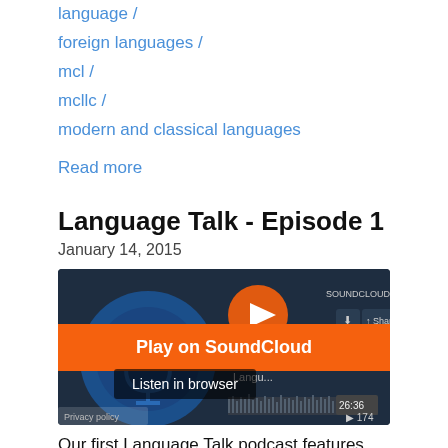language /
foreign languages /
mcl /
mcllc /
modern and classical languages
Read more
Language Talk - Episode 1
January 14, 2015
[Figure (screenshot): SoundCloud embedded audio player for Language Talk Episode 1, showing Play on SoundCloud and Listen in browser options, with waveform and duration 26:36, 174 plays.]
Our first Language Talk podcast features host Laura